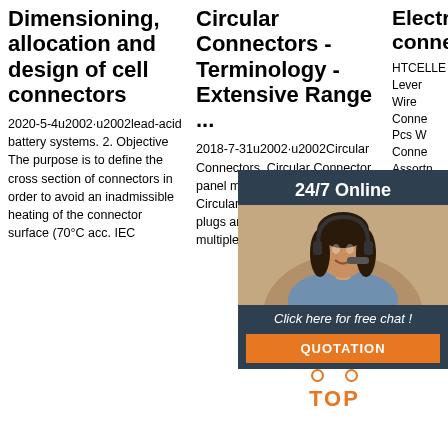Dimensioning, allocation and design of cell connectors
2020-5-4u2002·u2002lead-acid battery systems. 2. Objective The purpose is to define the cross section of connectors in order to avoid an inadmissible heating of the connector surface (70°C acc. IEC
Circular Connectors - Terminology - Extensive Range ...
2018-7-31u2002·u2002Circular Connectors. Circular Connector panel mount plug and free socket. Circular Connectors are electrical plugs and receptacles, with multiple contacts housed
Electrical connectors
HTCELLE Lever Wire Conne Pcs W Conne Assortn Compa Conne Electric Solid S Flexibl ...
[Figure (photo): 24/7 Online chat widget with customer service representative photo, orange QUOTATION button, and dark navy background]
[Figure (other): Orange Get Price button and orange TOP badge with dot pattern]